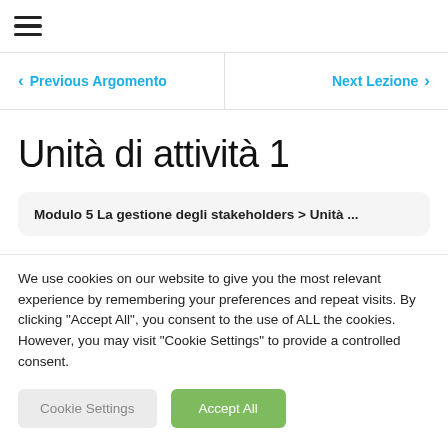☰
< Previous Argomento   Next Lezione >
Unità di attività 1
Modulo 5 La gestione degli stakeholders > Unità ...
We use cookies on our website to give you the most relevant experience by remembering your preferences and repeat visits. By clicking "Accept All", you consent to the use of ALL the cookies. However, you may visit "Cookie Settings" to provide a controlled consent.
Cookie Settings   Accept All